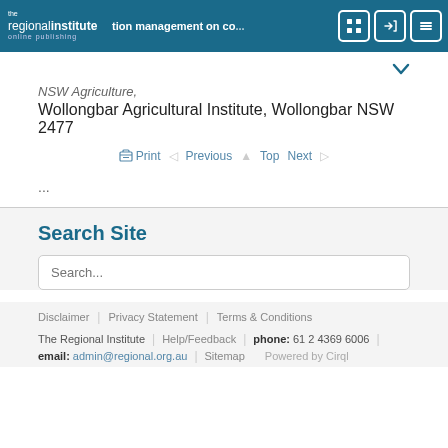the regionalinstitute online publishing | tion management on co... | [icons]
NSW Agriculture,
Wollongbar Agricultural Institute, Wollongbar NSW 2477
Print   Previous   Top   Next
...
Search Site
Search...
Disclaimer | Privacy Statement | Terms & Conditions
The Regional Institute | Help/Feedback | phone: 61 2 4369 6006 | email: admin@regional.org.au | Sitemap | Powered by Cirql